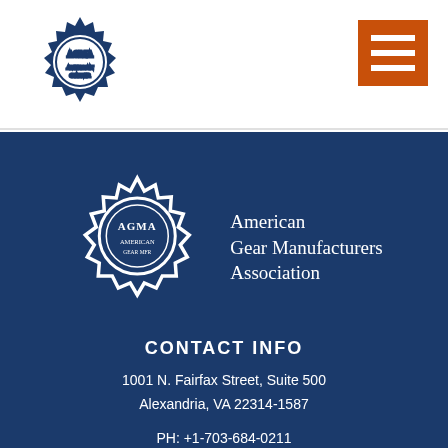[Figure (logo): AGMA gear logo (small, dark blue) in top-left header area]
[Figure (other): Orange hamburger menu button in top-right header area]
[Figure (logo): AGMA gear logo (large, white outline) with 'American Gear Manufacturers Association' text on dark blue background]
CONTACT INFO
1001 N. Fairfax Street, Suite 500
Alexandria, VA 22314-1587
PH: +1-703-684-0211
FAX: +1-703-684-0242